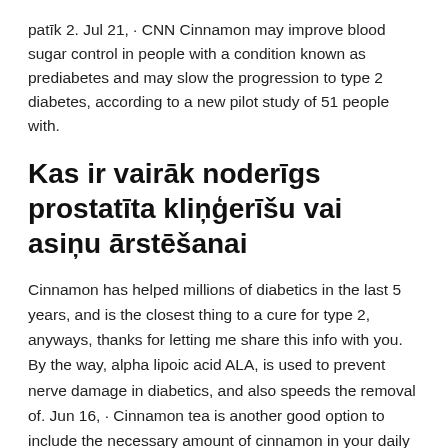patīk 2. Jul 21, · CNN Cinnamon may improve blood sugar control in people with a condition known as prediabetes and may slow the progression to type 2 diabetes, according to a new pilot study of 51 people with.
Kas ir vairāk noderīgs prostatīta kliņģerīšu vai asiņu ārstēšanai
Cinnamon has helped millions of diabetics in the last 5 years, and is the closest thing to a cure for type 2, anyways, thanks for letting me share this info with you. By the way, alpha lipoic acid ALA, is used to prevent nerve damage in diabetics, and also speeds the removal of. Jun 16, · Cinnamon tea is another good option to include the necessary amount of cinnamon in your daily life. To prepare it you only need a cinnamon stick and water. Boil the water and when ready, cut the cinnamon stick into a glass and